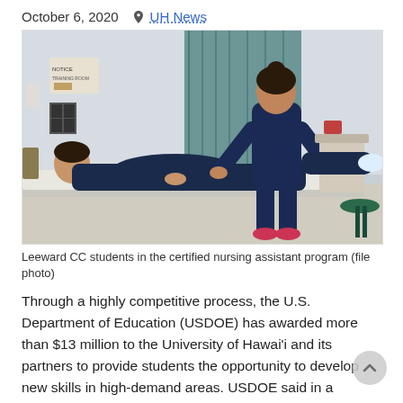October 6, 2020   UH News
[Figure (photo): Two nursing students in navy blue scrubs in a clinical room. One student is lying on an exam table, the other is standing and performing an examination of the patient's legs.]
Leeward CC students in the certified nursing assistant program (file photo)
Through a highly competitive process, the U.S. Department of Education (USDOE) has awarded more than $13 million to the University of Hawai'i and its partners to provide students the opportunity to develop new skills in high-demand areas. USDOE said in a release, “The recipients will leverage the expertise and facilities available on college campuses to spur